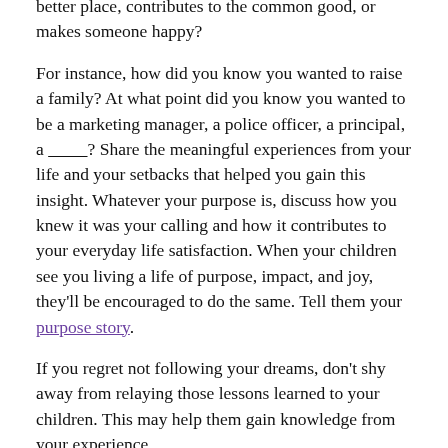better place, contributes to the common good, or makes someone happy?
For instance, how did you know you wanted to raise a family? At what point did you know you wanted to be a marketing manager, a police officer, a principal, a _________? Share the meaningful experiences from your life and your setbacks that helped you gain this insight. Whatever your purpose is, discuss how you knew it was your calling and how it contributes to your everyday life satisfaction. When your children see you living a life of purpose, impact, and joy, they'll be encouraged to do the same. Tell them your purpose story.
If you regret not following your dreams, don't shy away from relaying those lessons learned to your children. This may help them gain knowledge from your experience.